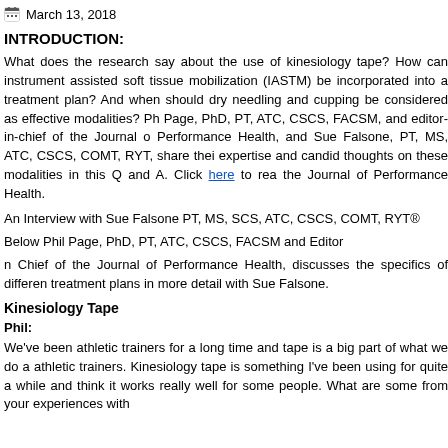March 13, 2018
INTRODUCTION:
What does the research say about the use of kinesiology tape? How can instrument assisted soft tissue mobilization (IASTM) be incorporated into a treatment plan? And when should dry needling and cupping be considered as effective modalities? Phil Page, PhD, PT, ATC, CSCS, FACSM, and editor-in-chief of the Journal of Performance Health, and Sue Falsone, PT, MS, ATC, CSCS, COMT, RYT, share their expertise and candid thoughts on these modalities in this Q and A. Click here to read the Journal of Performance Health.
An Interview with Sue Falsone PT, MS, SCS, ATC, CSCS, COMT, RYT®
Below Phil Page, PhD, PT, ATC, CSCS, FACSM and Editor
in Chief of the Journal of Performance Health, discusses the specifics of different treatment plans in more detail with Sue Falsone.
Kinesiology Tape
Phil:
We've been athletic trainers for a long time and tape is a big part of what we do as athletic trainers. Kinesiology tape is something I've been using for quite a while and I think it works really well for some people. What are some from your experiences with